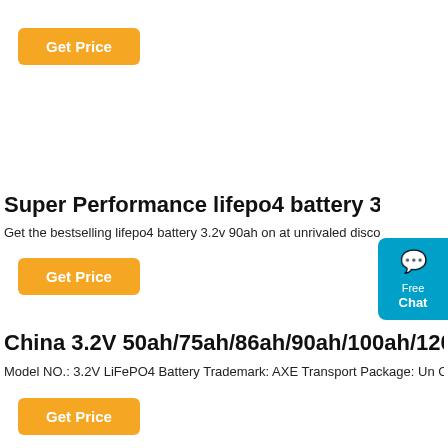[Figure (other): Orange 'Get Price' button at top left]
Super Performance lifepo4 battery 3.2v 90ah At Enticin
Get the bestselling lifepo4 battery 3.2v 90ah on at unrivaled discounts and enjoy h
[Figure (other): Orange 'Get Price' button middle left]
[Figure (other): Teal Free Chat widget on right side]
China 3.2V 50ah/75ah/86ah/90ah/100ah/120ah/206ah/277
Model NO.: 3.2V LiFePO4 Battery Trademark: AXE Transport Package: Un Carton Specific
[Figure (other): Orange 'Get Price' button bottom left]